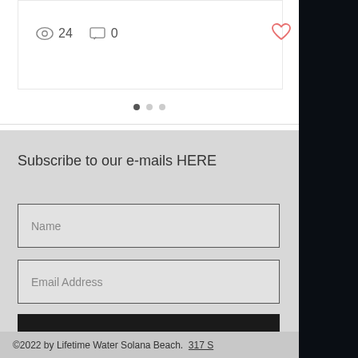[Figure (screenshot): Post card with view count 24, comment count 0, and a heart/like icon]
[Figure (other): Carousel dot indicators: 3 dots, first filled]
Subscribe to our e-mails HERE
[Figure (other): Name input field placeholder]
[Figure (other): Email Address input field placeholder]
[Figure (other): Submit button]
©2022 by Lifetime Water Solana Beach.  317 S